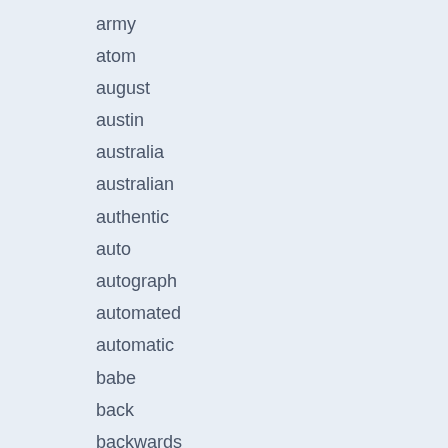army
atom
august
austin
australia
australian
authentic
auto
autograph
automated
automatic
babe
back
backwards
barnum
barrack